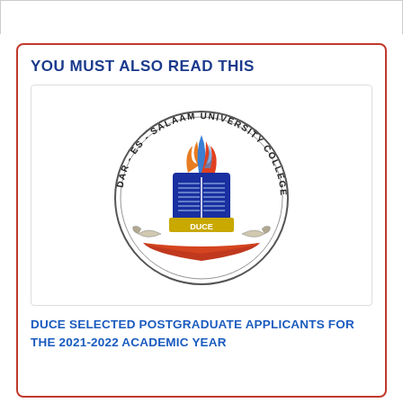YOU MUST ALSO READ THIS
[Figure (logo): DUCE - Dar es Salaam University College of Education circular logo with open book, flame, and scrolls]
DUCE SELECTED POSTGRADUATE APPLICANTS FOR THE 2021-2022 ACADEMIC YEAR